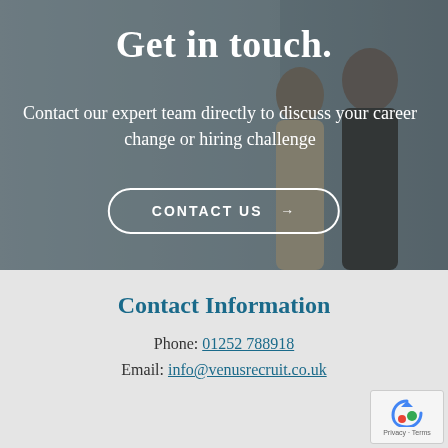[Figure (photo): Hero section with two people viewed from behind in an office/hallway, overlaid with dark semi-transparent tint and white text]
Get in touch.
Contact our expert team directly to discuss your career change or hiring challenge
CONTACT US →
Contact Information
Phone: 01252 788918
Email: info@venusrecruit.co.uk